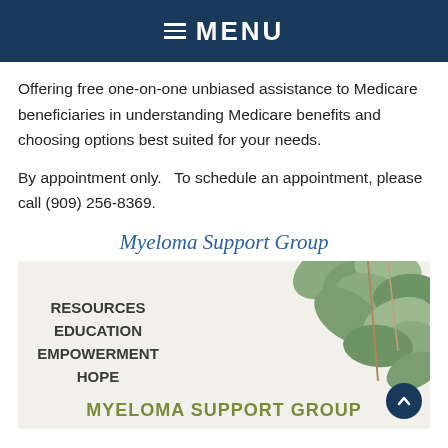MENU
Offering free one-on-one unbiased assistance to Medicare beneficiaries in understanding Medicare benefits and choosing options best suited for your needs.
By appointment only.   To schedule an appointment, please call (909) 256-8369.
Myeloma Support Group
[Figure (photo): Myeloma Support Group promotional image with eucalyptus leaves on a light background. Text reads: RESOURCES, EDUCATION, EMPOWERMENT, HOPE, MYELOMA SUPPORT GROUP]